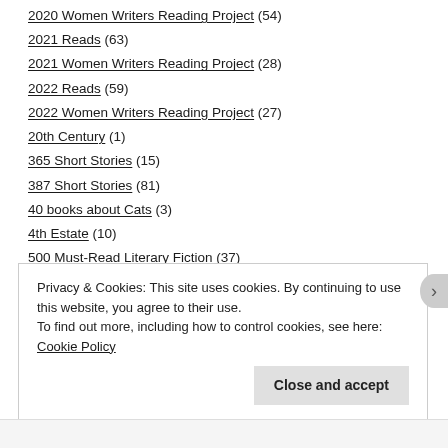2020 Women Writers Reading Project (54)
2021 Reads (63)
2021 Women Writers Reading Project (28)
2022 Reads (59)
2022 Women Writers Reading Project (27)
20th Century (1)
365 Short Stories (15)
387 Short Stories (81)
40 books about Cats (3)
4th Estate (10)
500 Must-Read Literary Fiction (37)
A.L. Kennedy (1)
Privacy & Cookies: This site uses cookies. By continuing to use this website, you agree to their use. To find out more, including how to control cookies, see here: Cookie Policy
Close and accept